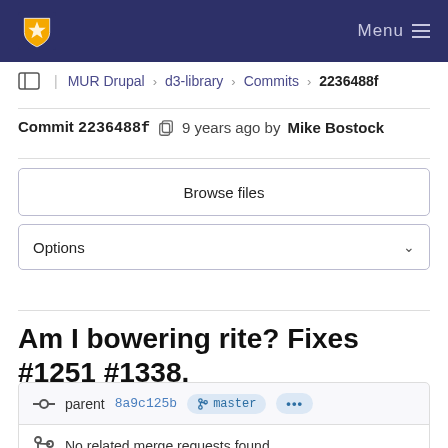Menu
MUR Drupal > d3-library > Commits > 2236488f
Commit 2236488f  9 years ago by Mike Bostock
Browse files
Options
Am I bowering rite? Fixes #1251 #1338.
parent 8a9c125b  master  ...
No related merge requests found